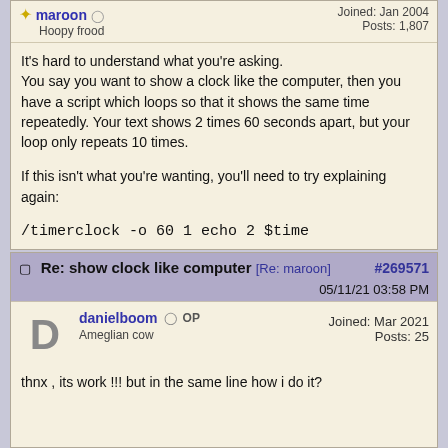maroon
Hoopy frood
Joined: Jan 2004
Posts: 1,807
It's hard to understand what you're asking. You say you want to show a clock like the computer, then you have a script which loops so that it shows the same time repeatedly. Your text shows 2 times 60 seconds apart, but your loop only repeats 10 times.

If this isn't what you're wanting, you'll need to try explaining again:

/timerclock -o 60 1 echo 2 $time

That echoes the time at 1 second interval for 60 seconds. If you change the 60 0 it repeats forever until you stop the timer. If you change the 1 to something else, that's the number of seconds between showing the time.
Re: show clock like computer [Re: maroon] #269571 05/11/21 03:58 PM
danielboom OP
Ameglian cow
Joined: Mar 2021
Posts: 25
thnx , its work !!! but in the same line how i do it?